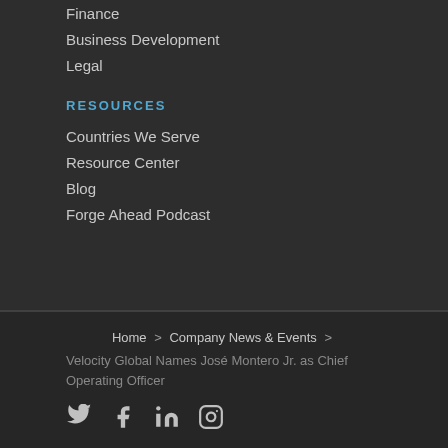Finance
Business Development
Legal
RESOURCES
Countries We Serve
Resource Center
Blog
Forge Ahead Podcast
Home > Company News & Events > Velocity Global Names José Montero Jr. as Chief Operating Officer